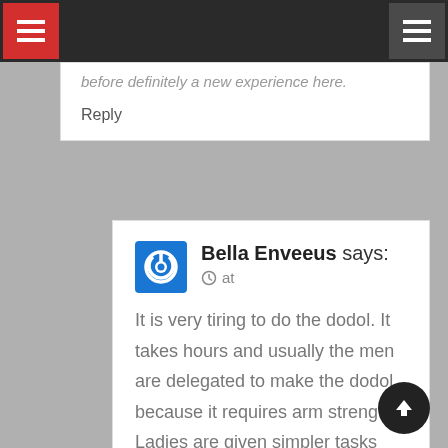[Navigation bar with hamburger menu icons]
before definitely a new experience here.
Reply
Bella Enveeus says:
at
It is very tiring to do the dodol. It takes hours and usually the men are delegated to make the dodol because it requires arm strength. Ladies are given simpler tasks like making the “ketupat” instead.
Reply